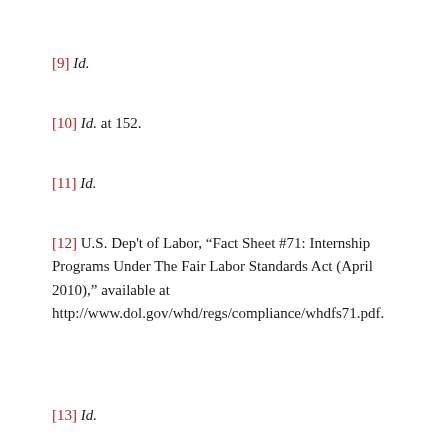[9] Id.
[10] Id. at 152.
[11] Id.
[12] U.S. Dep't of Labor, “Fact Sheet #71: Internship Programs Under The Fair Labor Standards Act (April 2010),” available at http://www.dol.gov/whd/regs/compliance/whdfs71.pdf.
[13] Id.